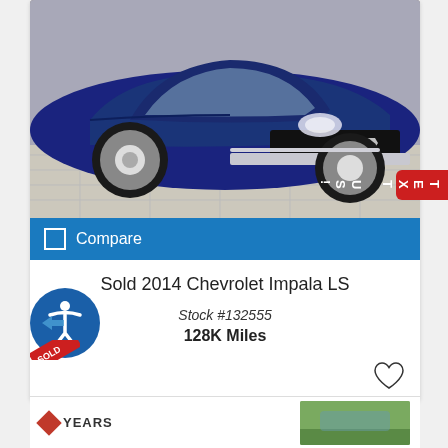[Figure (photo): Blue 2014 Chevrolet Impala LS sedan photographed in a dealership showroom, front 3/4 view, on tiled floor]
Compare
Sold 2014 Chevrolet Impala LS
Stock #132555
128K Miles
TEXT US!